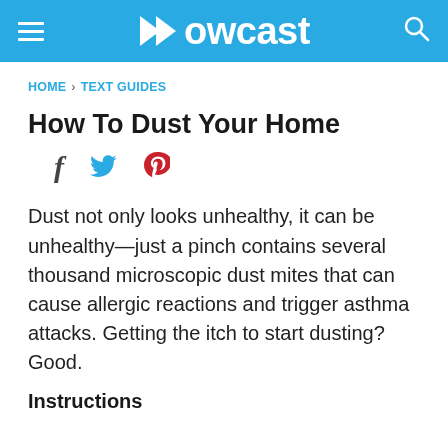Howcast
HOME > TEXT GUIDES
How To Dust Your Home
[Figure (infographic): Social sharing icons: Facebook (f), Twitter bird, Pinterest (P)]
Dust not only looks unhealthy, it can be unhealthy—just a pinch contains several thousand microscopic dust mites that can cause allergic reactions and trigger asthma attacks. Getting the itch to start dusting? Good.
Instructions